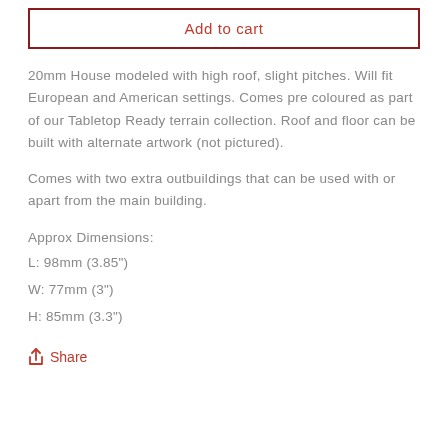Add to cart
20mm House modeled with high roof, slight pitches. Will fit European and American settings. Comes pre coloured as part of our Tabletop Ready terrain collection. Roof and floor can be built with alternate artwork (not pictured).
Comes with two extra outbuildings that can be used with or apart from the main building.
Approx Dimensions:
L: 98mm (3.85")
W: 77mm (3")
H: 85mm (3.3")
Share